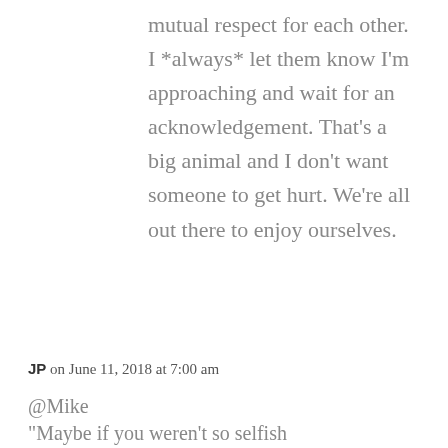mutual respect for each other. I *always* let them know I'm approaching and wait for an acknowledgement. That's a big animal and I don't want someone to get hurt. We're all out there to enjoy ourselves.
REPLY
JP on June 11, 2018 at 7:00 am
@Mike
“Maybe if you weren’t so selfish